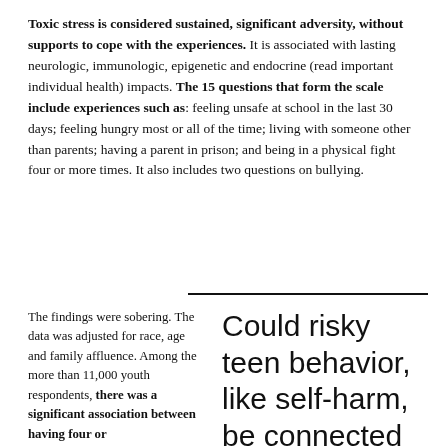Toxic stress is considered sustained, significant adversity, without supports to cope with the experiences. It is associated with lasting neurologic, immunologic, epigenetic and endocrine (read important individual health) impacts. The 15 questions that form the scale include experiences such as: feeling unsafe at school in the last 30 days; feeling hungry most or all of the time; living with someone other than parents; having a parent in prison; and being in a physical fight four or more times. It also includes two questions on bullying.
The findings were sobering. The data was adjusted for race, age and family affluence. Among the more than 11,000 youth respondents, there was a significant association between having four or
Could risky teen behavior, like self-harm, be connected to toxic stress?